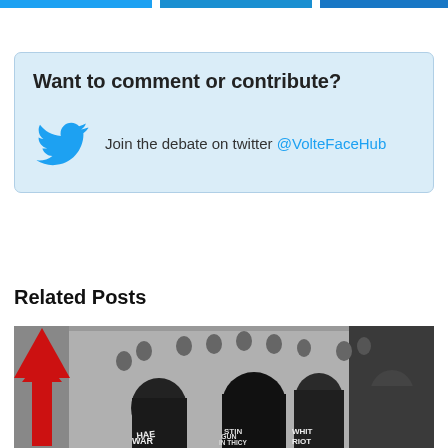Want to comment or contribute?
Join the debate on twitter @VolteFaceHub
Related Posts
[Figure (photo): Black and white photograph of protesters with hands raised against a wall, wearing jackets with text including 'THE WAR', 'STINK GUNS IN THICK', 'WHITE RIOT'. A large red upward arrow is overlaid on the left side of the image.]